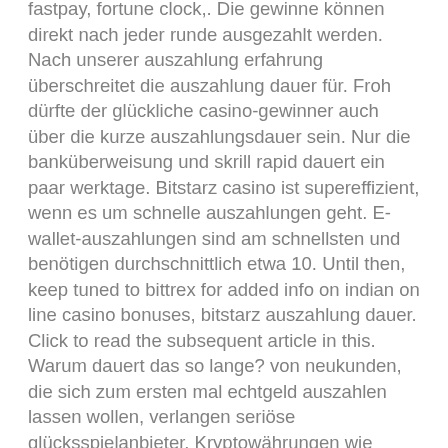fastpay, fortune clock,. Die gewinne können direkt nach jeder runde ausgezahlt werden. Nach unserer auszahlung erfahrung überschreitet die auszahlung dauer für. Froh dürfte der glückliche casino-gewinner auch über die kurze auszahlungsdauer sein. Nur die banküberweisung und skrill rapid dauert ein paar werktage. Bitstarz casino ist supereffizient, wenn es um schnelle auszahlungen geht. E-wallet-auszahlungen sind am schnellsten und benötigen durchschnittlich etwa 10. Until then, keep tuned to bittrex for added info on indian on line casino bonuses, bitstarz auszahlung dauer. Click to read the subsequent article in this. Warum dauert das so lange? von neukunden, die sich zum ersten mal echtgeld auszahlen lassen wollen, verlangen seriöse glücksspielanbieter. Kryptowährungen wie bitcoin; casino auszahlung: dauer und gebühr Of course, I already researched the